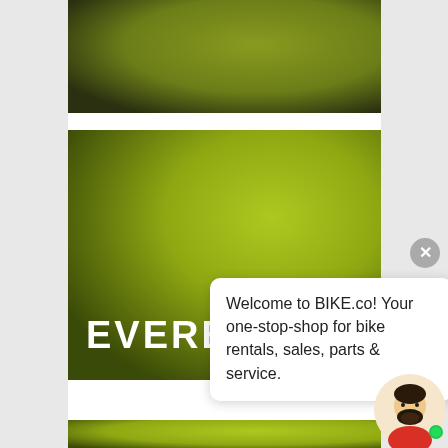[Figure (illustration): Top image block showing an olive-green to dark gradient background, partial view of a BIKE.co product card]
[Figure (illustration): Middle image block with bright olive-green gradient background showing the text EVERETT in bold white capital letters]
Welcome to BIKE.co! Your one-stop-shop for bike rentals, sales, parts & service.
[Figure (illustration): Bottom partial image block with olive-green gradient background]
[Figure (illustration): Avatar chat icon: cartoon bearded man with dark hair and beard, wearing a red shirt, with a green online indicator dot]